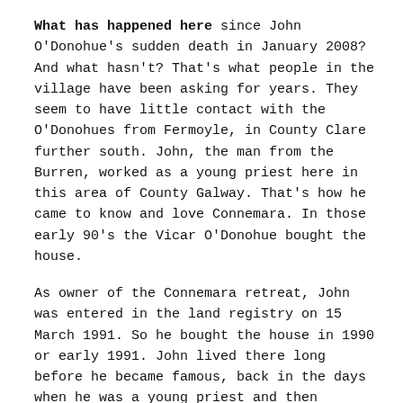What has happened here since John O'Donohue's sudden death in January 2008? And what hasn't? That's what people in the village have been asking for years. They seem to have little contact with the O'Donohues from Fermoyle, in County Clare further south. John, the man from the Burren, worked as a young priest here in this area of County Galway. That's how he came to know and love Connemara. In those early 90's the Vicar O'Donohue bought the house.
As owner of the Connemara retreat, John was entered in the land registry on 15 March 1991. So he bought the house in 1990 or early 1991. John lived there long before he became famous, back in the days when he was a young priest and then decided to give up the priestly profession.